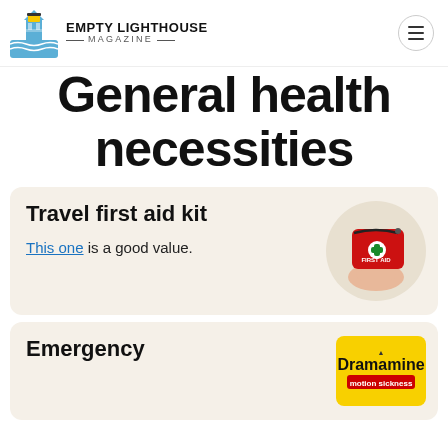Empty Lighthouse Magazine
General health necessities
Travel first aid kit
This one is a good value.
[Figure (photo): Hand holding a red travel first aid kit pouch with white cross and 'FIRST AID' text]
Emergency
[Figure (photo): Dramamine motion sickness product box]